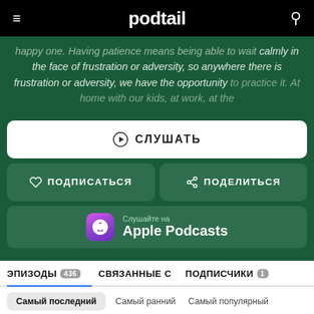podtail
happy one. Having patience means being able to wait calmly in the face of frustration or adversity, so anywhere there is frustration or adversity, we have the opportunity to practice it. At home with our kids, at work, at the
⊙ СЛУШАТЬ
♡ ПОДПИСАТЬСЯ
ПОДЕЛИТЬСЯ
Слушайте на Apple Podcasts
ЭПИЗОДЫ 436   СВЯЗАННЫЕ С   ПОДПИСЧИКИ 1
Самый последний   Самый ранний   Самый популярный
ЭПИЗОДЫ